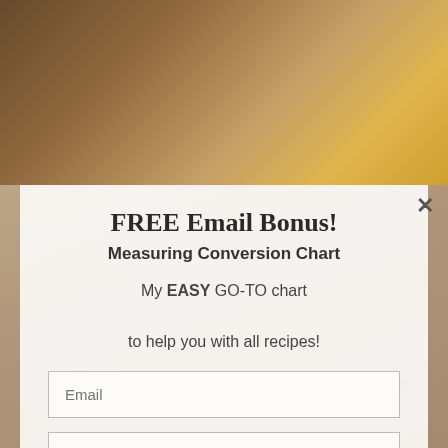[Figure (photo): Background photo of a football and food items, blurred/muted]
FREE Email Bonus!
Measuring Conversion Chart
My EASY GO-TO chart

to help you with all recipes!
Email
First Name
I agree to the use of my email address for Newsletter & exclusive announcements.
SUBSCRIBE